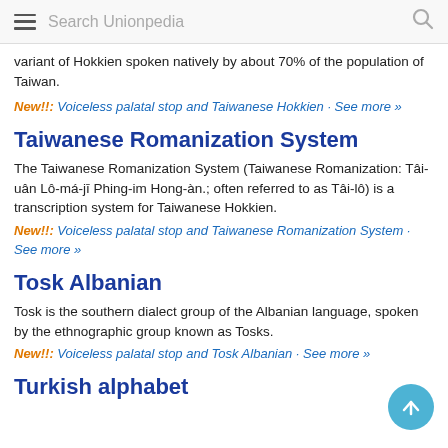Search Unionpedia
variant of Hokkien spoken natively by about 70% of the population of Taiwan.
New!!: Voiceless palatal stop and Taiwanese Hokkien · See more »
Taiwanese Romanization System
The Taiwanese Romanization System (Taiwanese Romanization: Tâi-uân Lô-má-jī Phing-im Hong-àn.; often referred to as Tâi-lô) is a transcription system for Taiwanese Hokkien.
New!!: Voiceless palatal stop and Taiwanese Romanization System · See more »
Tosk Albanian
Tosk is the southern dialect group of the Albanian language, spoken by the ethnographic group known as Tosks.
New!!: Voiceless palatal stop and Tosk Albanian · See more »
Turkish alphabet